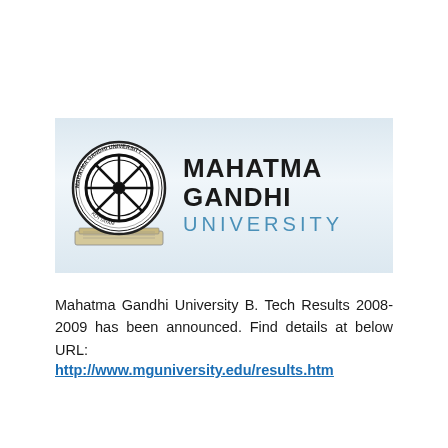[Figure (logo): Mahatma Gandhi University logo banner showing circular university seal on left with dharma wheel emblem, and 'MAHATMA GANDHI UNIVERSITY' text on right with university name in dark and blue lettering]
Mahatma Gandhi University B. Tech Results 2008-2009 has been announced. Find details at below URL:
http://www.mguniversity.edu/results.htm